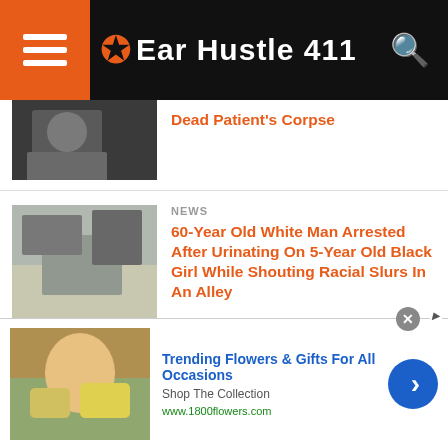Ear Hustle 411
Dead Patient's Corpse
NEWS
60-Year Old White Man Arrested After Urinating On 5-Year Old Black Girl While Shouting Racial Slurs In An Alley
NEWS
White Woman Is Brutally Beaten After Calling Metro Bus Passengers The N-Word
[Figure (infographic): Advertisement for 1800flowers.com: Trending Flowers & Gifts For All Occasions. Shop The Collection. www.1800flowers.com]